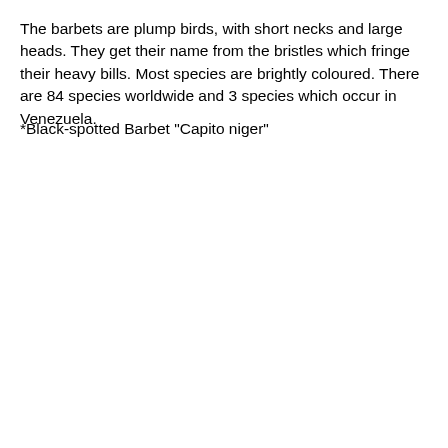The barbets are plump birds, with short necks and large heads. They get their name from the bristles which fringe their heavy bills. Most species are brightly coloured. There are 84 species worldwide and 3 species which occur in Venezuela.
*Black-spotted Barbet "Capito niger"